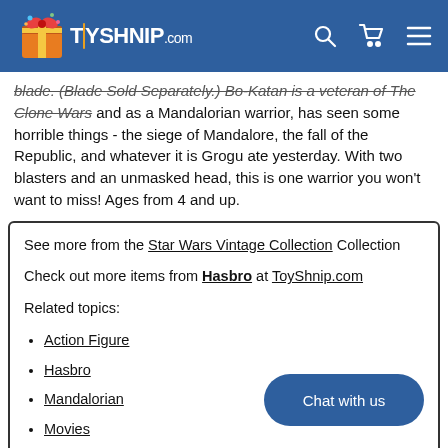TOYSHNIP.COM
blade. (Blade Sold Separately.) Bo-Katan is a veteran of The Clone Wars and as a Mandalorian warrior, has seen some horrible things - the siege of Mandalore, the fall of the Republic, and whatever it is Grogu ate yesterday. With two blasters and an unmasked head, this is one warrior you won't want to miss! Ages from 4 and up.
See more from the Star Wars Vintage Collection Collection
Check out more items from Hasbro at ToyShnip.com
Related topics:
Action Figure
Hasbro
Mandalorian
Movies